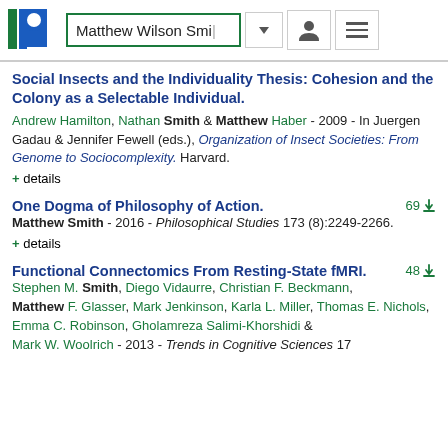Matthew Wilson Smi [search bar with dropdown, user icon, menu icon]
Social Insects and the Individuality Thesis: Cohesion and the Colony as a Selectable Individual.
Andrew Hamilton, Nathan Smith & Matthew Haber - 2009 - In Juergen Gadau & Jennifer Fewell (eds.), Organization of Insect Societies: From Genome to Sociocomplexity. Harvard.
+ details
One Dogma of Philosophy of Action.
Matthew Smith - 2016 - Philosophical Studies 173 (8):2249-2266.
+ details
Functional Connectomics From Resting-State fMRI.
Stephen M. Smith, Diego Vidaurre, Christian F. Beckmann, Matthew F. Glasser, Mark Jenkinson, Karla L. Miller, Thomas E. Nichols, Emma C. Robinson, Gholamreza Salimi-Khorshidi & Mark W. Woolrich - 2013 - Trends in Cognitive Sciences 17